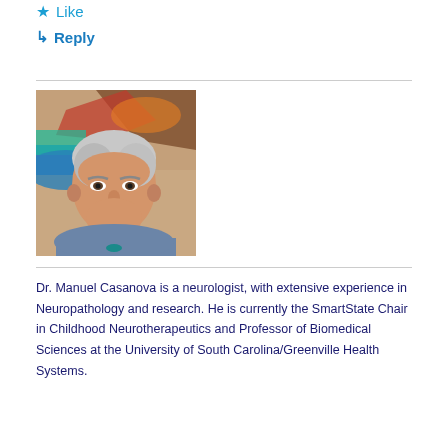★ Like
↳ Reply
[Figure (photo): Portrait photo of Dr. Manuel Casanova, a middle-aged man with white/gray hair and a mustache, wearing a blue-gray shirt, standing in front of colorful artwork on a wall.]
Dr. Manuel Casanova is a neurologist, with extensive experience in Neuropathology and research. He is currently the SmartState Chair in Childhood Neurotherapeutics and Professor of Biomedical Sciences at the University of South Carolina/Greenville Health Systems.